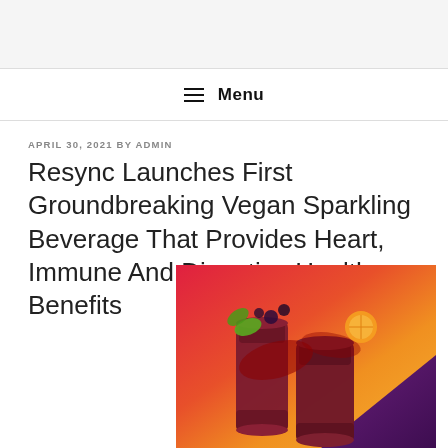☰ Menu
APRIL 30, 2021 BY ADMIN
Resync Launches First Groundbreaking Vegan Sparkling Beverage That Provides Heart, Immune And Digestive Health Benefits
[Figure (photo): Product photo of Resync sparkling beverage cans with colorful red, orange and purple gradient background, garnished with fruits and berries]